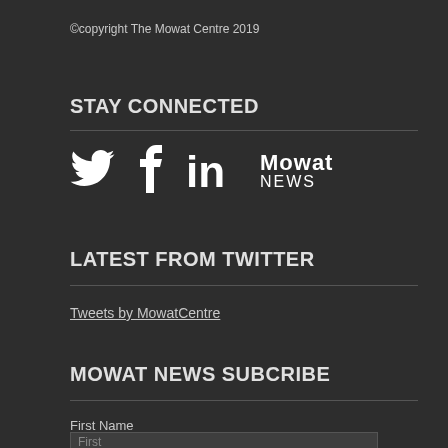©copyright The Mowat Centre 2019
STAY CONNECTED
[Figure (logo): Social media icons: Twitter bird, Facebook f, LinkedIn in, and Mowat NEWS text logo]
LATEST FROM TWITTER
Tweets by MowatCentre
MOWAT NEWS SUBCRIBE
First Name